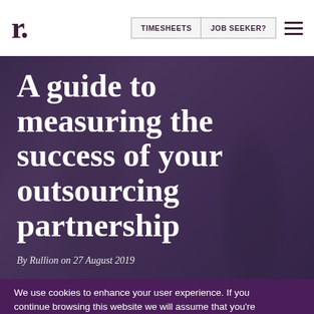r.  TIMESHEETS  JOB SEEKER?
[Figure (photo): Dark blurred background photo of two people in a professional setting, with purple/dark overlay]
A guide to measuring the success of your outsourcing partnership
By Rullion on 27 August 2019
We use cookies to enhance your user experience. If you continue browsing this website we will assume that you're